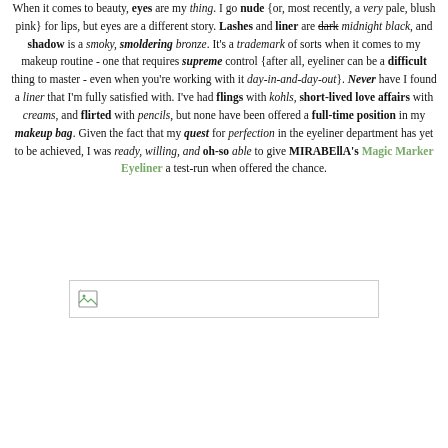When it comes to beauty, eyes are my thing. I go nude {or, most recently, a very pale, blush pink} for lips, but eyes are a different story. Lashes and liner are dark midnight black, and shadow is a smoky, smoldering bronze. It's a trademark of sorts when it comes to my makeup routine - one that requires supreme control {after all, eyeliner can be a difficult thing to master - even when you're working with it day-in-and-day-out}. Never have I found a liner that I'm fully satisfied with. I've had flings with kohls, short-lived love affairs with creams, and flirted with pencils, but none have been offered a full-time position in my makeup bag. Given the fact that my quest for perfection in the eyeliner department has yet to be achieved, I was ready, willing, and oh-so able to give MIRABEllA's Magic Marker Eyeliner a test-run when offered the chance.
[Figure (other): Broken image placeholder (image failed to load)]